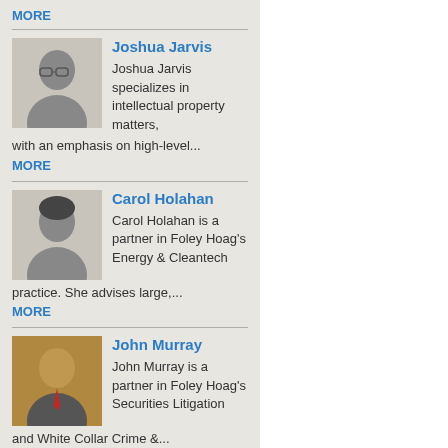MORE
[Figure (photo): Headshot photo of Joshua Jarvis]
Joshua Jarvis
Joshua Jarvis specializes in intellectual property matters, with an emphasis on high-level...
MORE
[Figure (photo): Headshot photo of Carol Holahan]
Carol Holahan
Carol Holahan is a partner in Foley Hoag's Energy & Cleantech practice. She advises large,...
MORE
[Figure (photo): Headshot photo of John Murray]
John Murray
John Murray is a partner in Foley Hoag's Securities Litigation and White Collar Crime &...
MORE
[Figure (photo): Headshot photo of Stephen Bartlett]
Stephen Bartlett
Steve Bartlett is an associate in the firm's Administrative Law Department, where he...